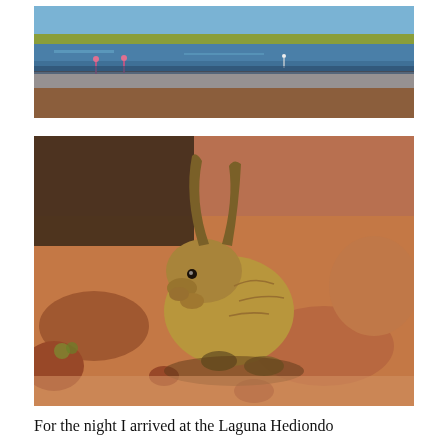[Figure (photo): Panoramic photo of a high-altitude lake (laguna) with flamingos wading in shallow water, reddish-brown desert terrain in the foreground, blue water in the middle, and yellow-green vegetation on the far shore under a blue sky.]
[Figure (photo): Close-up photo of a viscacha (rabbit-like Andean rodent) sitting on reddish rocky terrain in bright sunlight, with its large curved ears visible and front paws raised near its face.]
For the night I arrived at the Laguna Hediondo